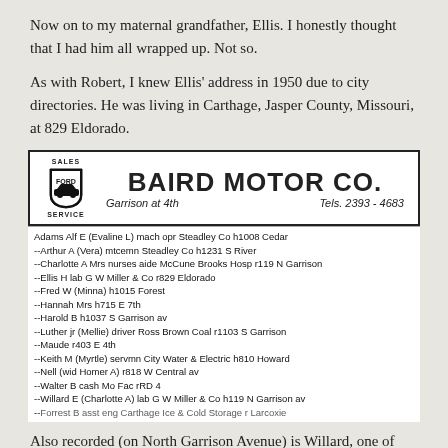Now on to my maternal grandfather, Ellis. I honestly thought that I had him all wrapped up. Not so.
As with Robert, I knew Ellis' address in 1950 due to city directories. He was living in Carthage, Jasper County, Missouri, at 829 Eldorado.
[Figure (other): City directory advertisement for Baird Motor Co., a Ford dealership at Garrison at 4th, Tels. 2393-4683, followed by directory listings for Adams family members including Ellis H lab G W Miller & Co r829 Eldorado.]
Also recorded (on North Garrison Avenue) is Willard, one of Ellis'